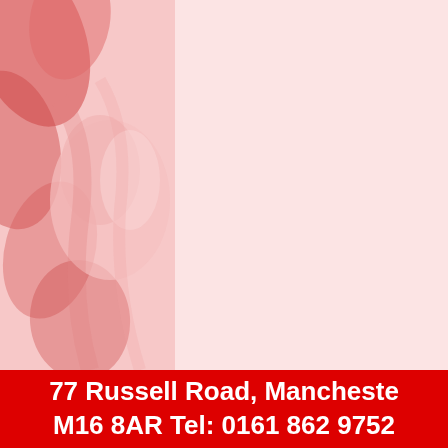[Figure (photo): Blurred pink-toned photo of a person's face/head with foliage, occupying the left portion of the page background. The image has a soft, washed-out pink and red color palette.]
77 Russell Road, Manchester M16 8AR Tel: 0161 862 9752